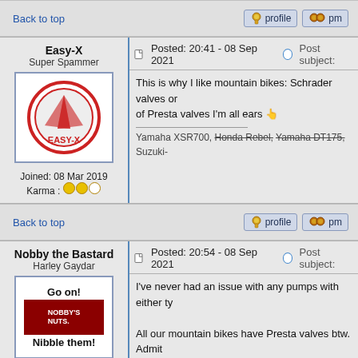Back to top
profile   pm
Easy-X
Super Spammer
Joined: 08 Mar 2019
Karma : OOO
Posted: 20:41 - 08 Sep 2021   Post subject:
This is why I like mountain bikes: Schrader valves or of Presta valves I'm all ears 👆
Yamaha XSR700, Honda Rebel, Yamaha DT175, Suzuki-
Back to top
profile   pm
Nobby the Bastard
Harley Gaydar
Joined: 16 Aug 2013
Karma : OO
Posted: 20:54 - 08 Sep 2021   Post subject:
I've never had an issue with any pumps with either ty
All our mountain bikes have Presta valves btw. Admit
trevor saxe-coburg-gotha:"Remember this simple rule - so cunt lips."
Sprint ST 1050
Back to top
profile   pm
Nobby the Bastard
Harley Gaydar
Posted: 21:49 - 08 Sep 2021   Post subject: